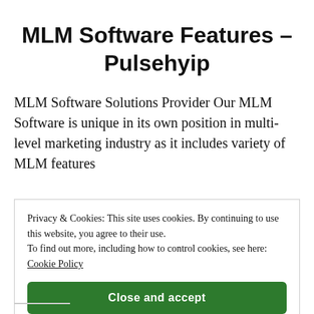MLM Software Features – Pulsehyip
MLM Software Solutions Provider Our MLM Software is unique in its own position in multi-level marketing industry as it includes variety of MLM features
Privacy & Cookies: This site uses cookies. By continuing to use this website, you agree to their use.
To find out more, including how to control cookies, see here: Cookie Policy
Close and accept